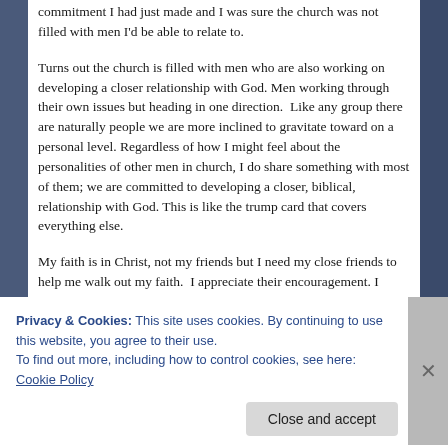commitment I had just made and I was sure the church was not filled with men I'd be able to relate to.
Turns out the church is filled with men who are also working on developing a closer relationship with God. Men working through their own issues but heading in one direction.  Like any group there are naturally people we are more inclined to gravitate toward on a personal level. Regardless of how I might feel about the personalities of other men in church, I do share something with most of them; we are committed to developing a closer, biblical, relationship with God. This is like the trump card that covers everything else.
My faith is in Christ, not my friends but I need my close friends to help me walk out my faith.  I appreciate their encouragement. I appreciate that they check in with me through the week and
Privacy & Cookies: This site uses cookies. By continuing to use this website, you agree to their use.
To find out more, including how to control cookies, see here: Cookie Policy
Close and accept